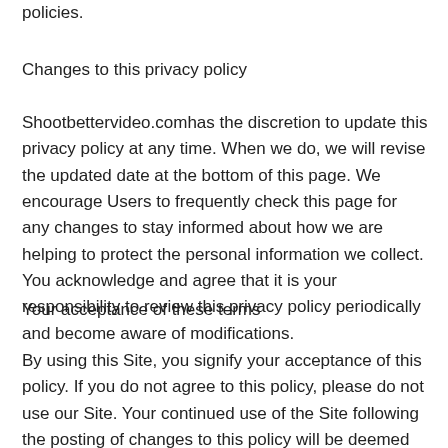policies.
Changes to this privacy policy
Shootbettervideo.comhas the discretion to update this privacy policy at any time. When we do, we will revise the updated date at the bottom of this page. We encourage Users to frequently check this page for any changes to stay informed about how we are helping to protect the personal information we collect. You acknowledge and agree that it is your responsibility to review this privacy policy periodically and become aware of modifications.
Your acceptance of these terms
By using this Site, you signify your acceptance of this policy. If you do not agree to this policy, please do not use our Site. Your continued use of the Site following the posting of changes to this policy will be deemed your acceptance of those changes.